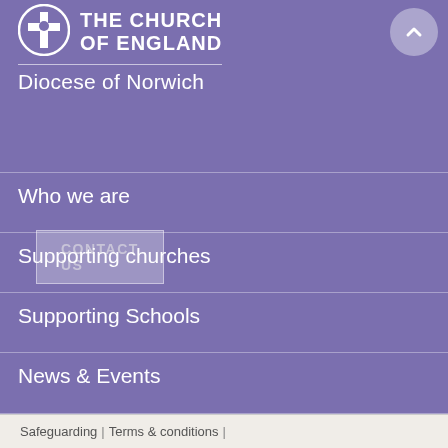[Figure (logo): Church of England Diocese of Norwich logo with cross/shield icon and text]
CONTACT US
Who we are
Supporting churches
Supporting Schools
News & Events
Safeguarding | Terms & conditions |